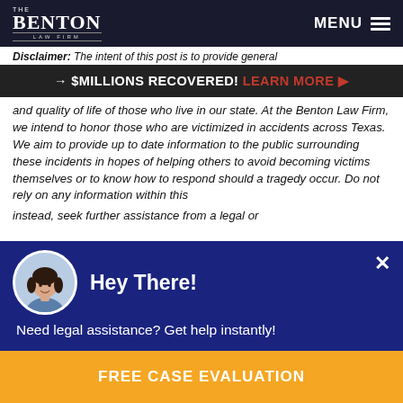THE BENTON LAW FIRM — MENU
Disclaimer: The intent of this post is to provide general
→ $MILLIONS RECOVERED! LEARN MORE ▶
and quality of life of those who live in our state. At the Benton Law Firm, we intend to honor those who are victimized in accidents across Texas. We aim to provide up to date information to the public surrounding these incidents in hopes of helping others to avoid becoming victims themselves or to know how to respond should a tragedy occur. Do not rely on any information within this instead, seek further assistance from a legal or
Hey There!
Need legal assistance? Get help instantly!
FREE CASE EVALUATION